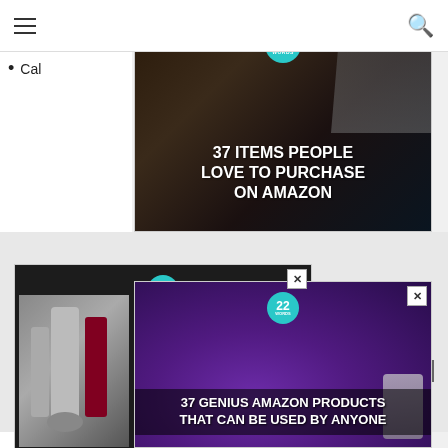≡  [nav]  🔍
Cal…
[Figure (screenshot): Advertisement banner: '37 ITEMS PEOPLE LOVE TO PURCHASE ON AMAZON' with kitchen knives and food images on dark background, 22Words badge]
[Figure (screenshot): Advertisement: '37 HOME AND KITCHEN ITEMS EVERYONE SHOULD OWN' with wine opener and yellow kitchen tools on dark background, 22Words badge]
[Figure (screenshot): Advertisement: '37 GENIUS AMAZON PRODUCTS THAT CAN BE USED BY ANYONE' with purple headphones on dark background, 22Words badge]
CLOSE